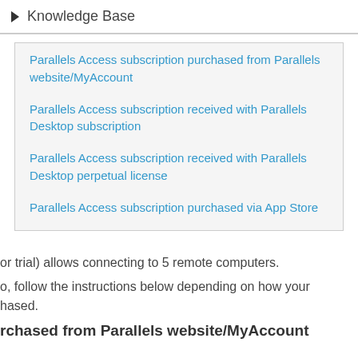Knowledge Base
Parallels Access subscription purchased from Parallels website/MyAccount
Parallels Access subscription received with Parallels Desktop subscription
Parallels Access subscription received with Parallels Desktop perpetual license
Parallels Access subscription purchased via App Store
or trial) allows connecting to 5 remote computers.
o, follow the instructions below depending on how your hased.
rchased from Parallels website/MyAccount